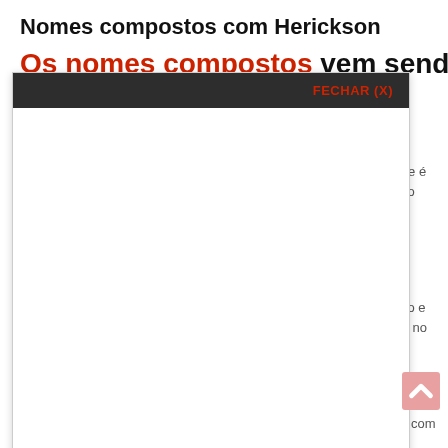Nomes compostos com Herickson
Os nomes compostos vem sendo cada vez mais usados nos
[Figure (screenshot): A modal/popup overlay with dark header bar showing 'FECHAR (X)' in red text on a dark background, with a large white content area below.]
sempre é mposto
e lendo e ickson no
binam com plos
Nomes que combinam com Herickson